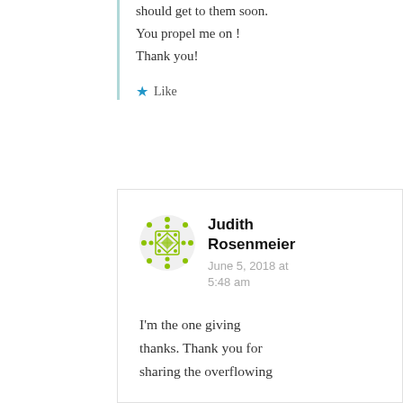should get to them soon.
You propel me on !
Thank you!
★ Like
Judith Rosenmeier
June 5, 2018 at 5:48 am
I'm the one giving thanks. Thank you for sharing the overflowing